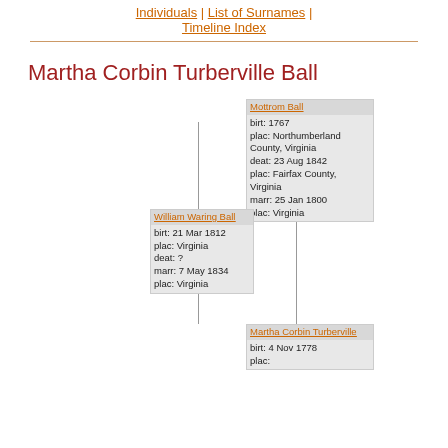Individuals | List of Surnames | Timeline Index
Martha Corbin Turberville Ball
[Figure (other): Genealogy pedigree/family tree diagram showing Martha Corbin Turberville Ball with ancestors: Mottrom Ball (birt: 1767, plac: Northumberland County, Virginia, deat: 23 Aug 1842, plac: Fairfax County, Virginia, marr: 25 Jan 1800, plac: Virginia), William Waring Ball (birt: 21 Mar 1812, plac: Virginia, deat: ?, marr: 7 May 1834, plac: Virginia), and Martha Corbin Turberville (birt: 4 Nov 1778, plac: [cut off])]